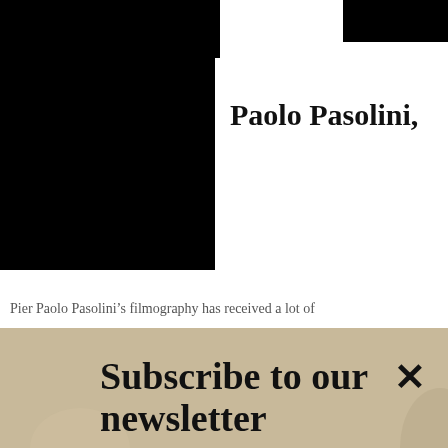[Figure (screenshot): Screenshot of a webpage showing a black redacted rectangle on the left and a white card with bold text 'Paolo Pasolini,' on the right, with a small black redacted rectangle in the top right corner]
Pier Paolo Pasolini’s filmography has received a lot of
[Figure (screenshot): Newsletter subscription popup overlay with sandy/stone texture background, title 'Subscribe to our newsletter', email input field with 'Your e-mail address' placeholder and 'SIGN UP' button, and a close X button in the top right]
[Figure (screenshot): Bottom white/light gray area with a horizontal divider and a curved squiggle line with a circled X button on the right]